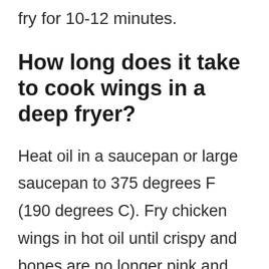fry for 10-12 minutes.
How long does it take to cook wings in a deep fryer?
Heat oil in a saucepan or large saucepan to 375 degrees F (190 degrees C). Fry chicken wings in hot oil until crispy and bones are no longer pink and juices run clear, 9 to 12 minutes.
How long does it take to fry